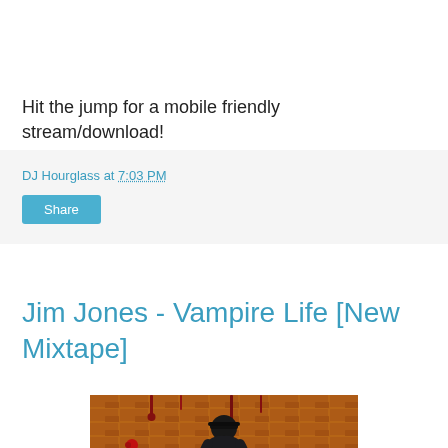Hit the jump for a mobile friendly stream/download!
DJ Hourglass at 7:03 PM
Share
Jim Jones - Vampire Life [New Mixtape]
[Figure (photo): Person standing in front of a textured orange/brown wall with red drips, looking downward, wearing dark clothing]